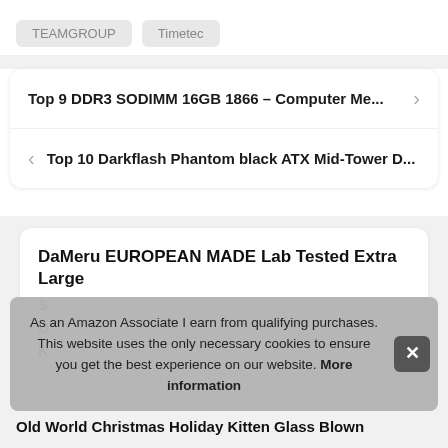TEAMGROUP
Timetec
Top 9 DDR3 SODIMM 16GB 1866 – Computer Me...
Top 10 Darkflash Phantom black ATX Mid-Tower D...
DaMeru EUROPEAN MADE Lab Tested Extra Large
As an Amazon Associate I earn from qualifying purchases. This website uses the only necessary cookies to ensure you get the best experience on our website. More information
Old World Christmas Holiday Kitten Glass Blown